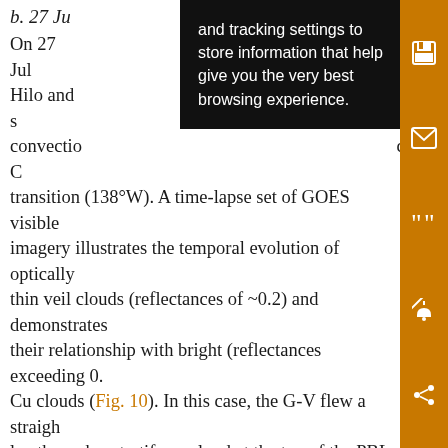b. 27 Jul [partially obscured] On 27 Jul [partially obscured] to to Hilo and [partially obscured] ulus convectio [partially obscured] c–C transition (138°W). A time-lapse set of GOES visible imagery illustrates the temporal evolution of optically thin veil clouds (reflectances of ~0.2) and demonstrates their relationship with bright (reflectances exceeding 0. Cu clouds (Fig. 10). In this case, the G-V flew a straight leg through a stratiform cloud at the top of the PBL (~2300 m). Low cloud droplet concentrations measured with the G-V were in the UCL range during the latter half of the leg (Fig. 11c). Effective radii exceed 20 μm over much of this leg (Fig. 11), even reaching as high as 40–60 μm. Moderate Resolution Imaging Spectroradiometer (MODIS)-retrieved cloud droplet effective radii are also
and tracking settings to store information that help give you the very best browsing experience.